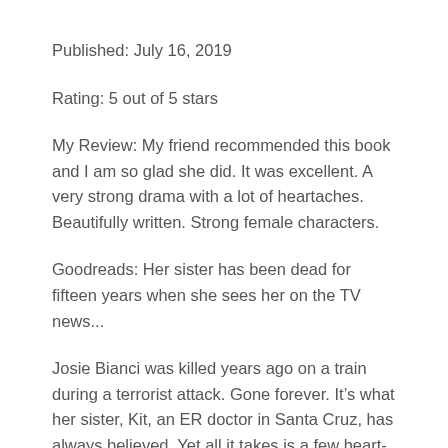Published: July 16, 2019
Rating: 5 out of 5 stars
My Review: My friend recommended this book and I am so glad she did. It was excellent. A very strong drama with a lot of heartaches. Beautifully written. Strong female characters.
Goodreads: Her sister has been dead for fifteen years when she sees her on the TV news...
Josie Bianci was killed years ago on a train during a terrorist attack. Gone forever. It’s what her sister, Kit, an ER doctor in Santa Cruz, has always believed. Yet all it takes is a few heart-wrenching seconds to upend Kit’s